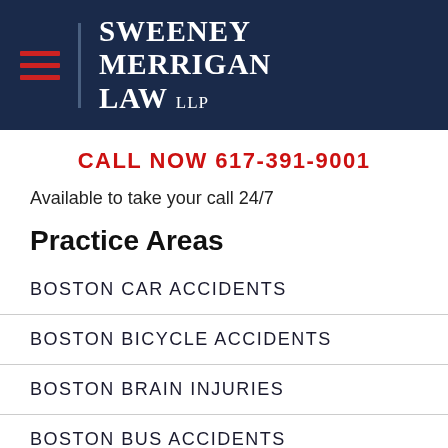Sweeney Merrigan Law LLP
CALL NOW 617-391-9001
Available to take your call 24/7
Practice Areas
BOSTON CAR ACCIDENTS
BOSTON BICYCLE ACCIDENTS
BOSTON BRAIN INJURIES
BOSTON BUS ACCIDENTS
BOSTON CHILD INJURIES
BOSTON CONSTRUCTION ACCIDENTS